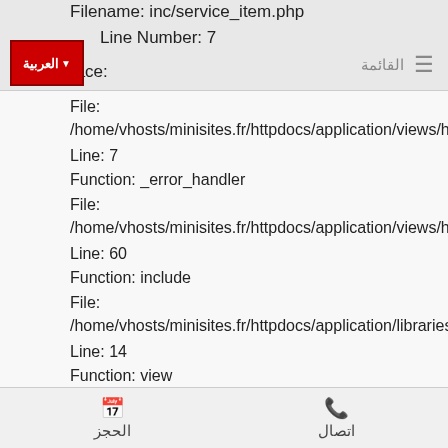Filename: inc/service_item.php Line Number: 7 Trace:
[Figure (logo): Red button with Arabic text العربية and dropdown arrow]
File:
/home/vhosts/minisites.fr/httpdocs/application/views/hom
Line: 7
Function: _error_handler
File:
/home/vhosts/minisites.fr/httpdocs/application/views/hom
Line: 60
Function: include
File:
/home/vhosts/minisites.fr/httpdocs/application/libraries/Te
Line: 14
Function: view
File:
/home/vhosts/minisites.fr/httpdocs/application/controllers/
Line: 207
الحجز  اتصال